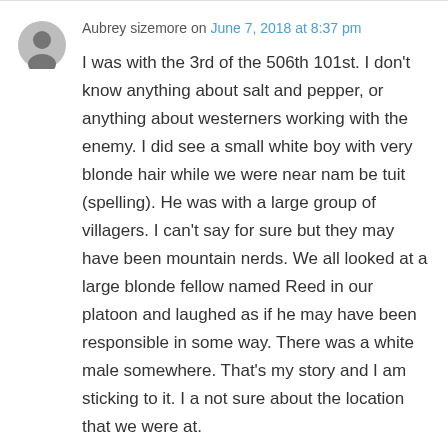Aubrey sizemore on June 7, 2018 at 8:37 pm
I was with the 3rd of the 506th 101st. I don't know anything about salt and pepper, or anything about westerners working with the enemy. I did see a small white boy with very blonde hair while we were near nam be tuit (spelling). He was with a large group of villagers. I can't say for sure but they may have been mountain nerds. We all looked at a large blonde fellow named Reed in our platoon and laughed as if he may have been responsible in some way. There was a white male somewhere. That's my story and I am sticking to it. I a not sure about the location that we were at.